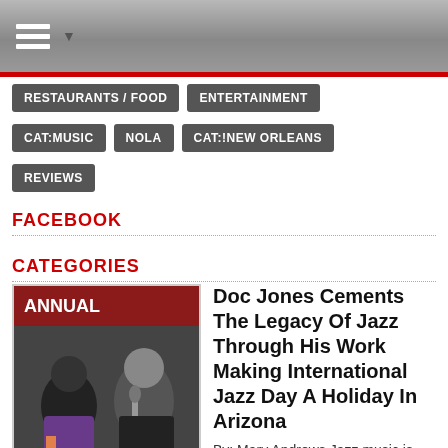Navigation header with hamburger menu icon
RESTAURANTS / FOOD
ENTERTAINMENT
CAT:MUSIC
NOLA
CAT:!NEW ORLEANS
REVIEWS
FACEBOOK
CATEGORIES
Doc Jones Cements The Legacy Of Jazz Through His Work Making International Jazz Day A Holiday In Arizona
By: Mary Andrews Jazz music is one of the...
Posted 2 years ago   0